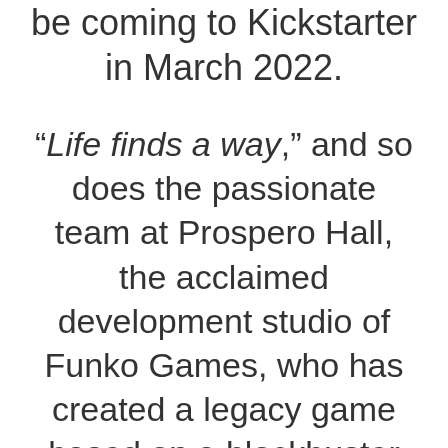be coming to Kickstarter in March 2022.
“Life finds a way,” and so does the passionate team at Prospero Hall, the acclaimed development studio of Funko Games, who has created a legacy game based on a blockbuster entertainment franchise… Jurassic World: